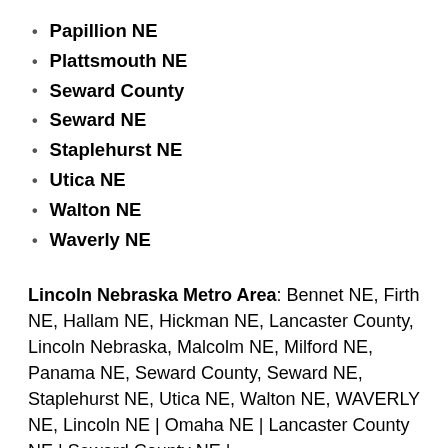Papillion NE
Plattsmouth NE
Seward County
Seward NE
Staplehurst NE
Utica NE
Walton NE
Waverly NE
Lincoln Nebraska Metro Area: Bennet NE, Firth NE, Hallam NE, Hickman NE, Lancaster County, Lincoln Nebraska, Malcolm NE, Milford NE, Panama NE, Seward County, Seward NE, Staplehurst NE, Utica NE, Walton NE, WAVERLY NE, Lincoln NE | Omaha NE | Lancaster County NE | Seward County NE |